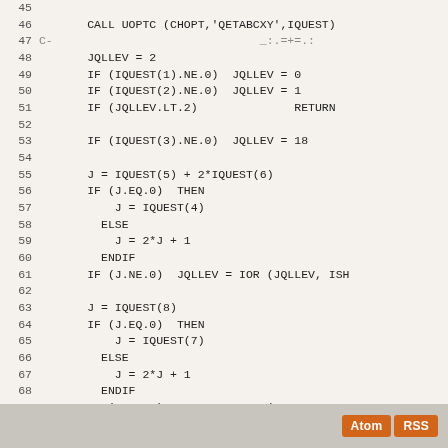Source code listing lines 45-73 showing FORTRAN-style code with line numbers
Atom  RSS